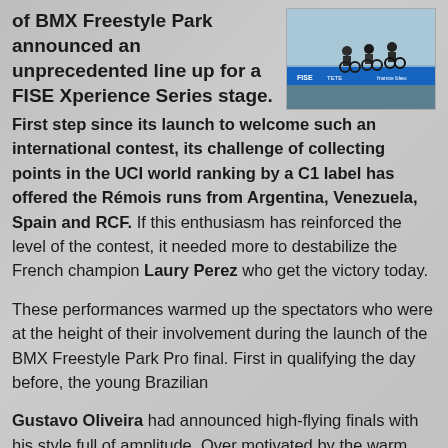of BMX Freestyle Park announced an unprecedented line up for a FISE Xperience Series stage. First step since its launch to welcome such an international contest, its challenge of collecting points in the UCI world ranking by a C1 label has offered the Rémois runs from Argentina, Venezuela, Spain and RCF. If this enthusiasm has reinforced the level of the contest, it needed more to destabilize the French champion Laury Perez who get the victory today.
[Figure (photo): Outdoor BMX event scene with cyclists and FISE/France Bleu branded blue banners in background]
These performances warmed up the spectators who were at the height of their involvement during the launch of the BMX Freestyle Park Pro final. First in qualifying the day before, the young Brazilian
Gustavo Oliveira had announced high-flying finals with his style full of amplitude. Over motivated by the warm welcome by the